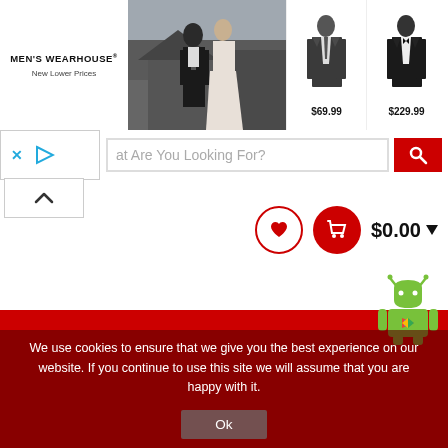[Figure (screenshot): Men's Wearhouse advertisement banner with brand logo, couple photo, and two suit product images priced at $69.99 and $229.99]
[Figure (screenshot): Website navigation elements: close (X) and play buttons, search bar with placeholder text 'at Are You Looking For?', red search button, collapse arrow button, heart wishlist circle, red cart circle, $0.00 price display with dropdown]
[Figure (screenshot): Android robot (Google Play) icon in upper-right area above red background section]
[Figure (screenshot): Cookie consent notice overlay on dark red background with Ok button]
We use cookies to ensure that we give you the best experience on our website. If you continue to use this site we will assume that you are happy with it.